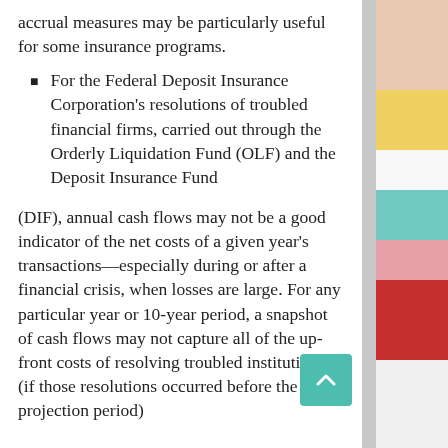accrual measures may be particularly useful for some insurance programs.
For the Federal Deposit Insurance Corporation's resolutions of troubled financial firms, carried out through the Orderly Liquidation Fund (OLF) and the Deposit Insurance Fund
(DIF), annual cash flows may not be a good indicator of the net costs of a given year's transactions—especially during or after a financial crisis, when losses are large. For any particular year or 10-year period, a snapshot of cash flows may not capture all of the up-front costs of resolving troubled institutions (if those resolutions occurred before the projection period)